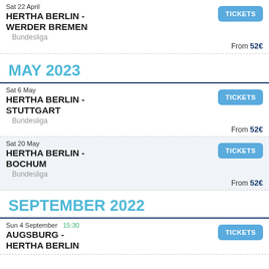Sat 22 April
HERTHA BERLIN - WERDER BREMEN
Bundesliga
From 52€
TICKETS
MAY 2023
Sat 6 May
HERTHA BERLIN - STUTTGART
Bundesliga
From 52€
TICKETS
Sat 20 May
HERTHA BERLIN - BOCHUM
Bundesliga
From 52€
TICKETS
SEPTEMBER 2022
Sun 4 September 15:30
AUGSBURG - HERTHA BERLIN
TICKETS